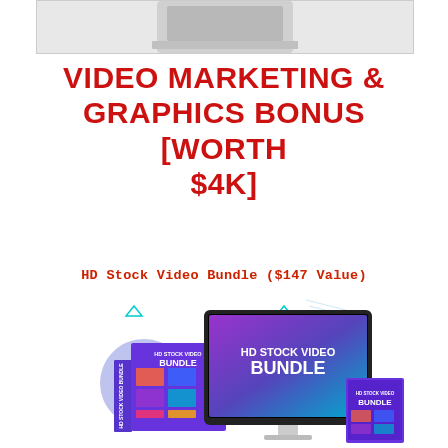[Figure (illustration): Partial product image visible at top of page (cropped)]
VIDEO MARKETING & GRAPHICS BONUS [WORTH $4K]
HD Stock Video Bundle ($147 Value)
[Figure (photo): HD Stock Video Bundle product mockup showing iMac screen and box packaging with purple/teal gradient design reading 'HD STOCK VIDEO BUNDLE']